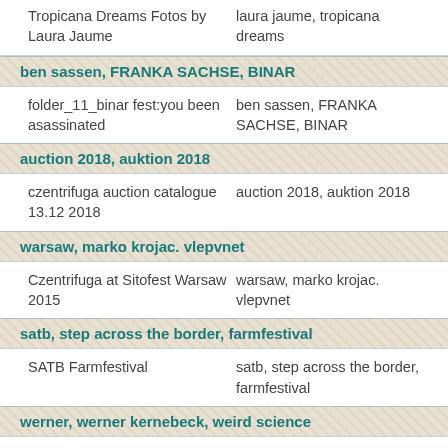Tropicana Dreams Fotos by Laura Jaume | laura jaume, tropicana dreams
ben sassen, FRANKA SACHSE, BINAR
folder_11_binar fest:you been asassinated | ben sassen, FRANKA SACHSE, BINAR
auction 2018, auktion 2018
czentrifuga auction catalogue 13.12 2018 | auction 2018, auktion 2018
warsaw, marko krojac. vlepvnet
Czentrifuga at Sitofest Warsaw 2015 | warsaw, marko krojac. vlepvnet
satb, step across the border, farmfestival
SATB Farmfestival | satb, step across the border, farmfestival
werner, werner kernebeck, weird science
weird science revue 2017_fotos werner kernebeck | werner, werner kernebeck, weird science